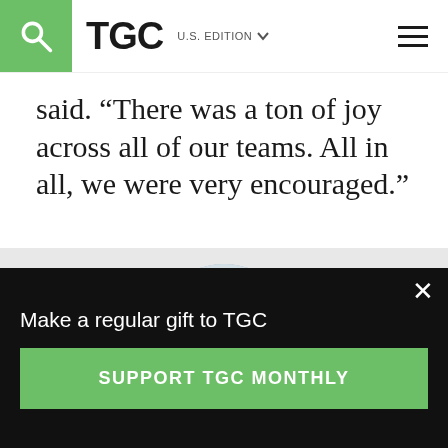TGC | U.S. EDITION
said. “There was a ton of joy across all of our teams. All in all, we were very encouraged.”
[Figure (photo): Circular portrait photo of a smiling blonde woman in a blue top, seated, on a light grey background.]
Make a regular gift to TGC
SUPPORT TGC MONTHLY